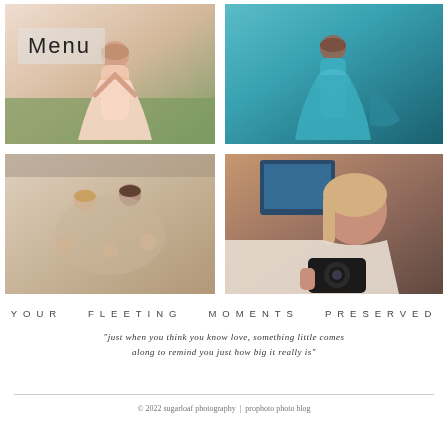[Figure (photo): Four-photo grid: top-left shows pregnant woman in pink flowing dress outdoors on grass; top-right shows pregnant woman in teal satin dress; bottom-left shows family group with parents and young children on a bed; bottom-right shows a woman photographer holding a camera with a selfie-style photo]
Menu
YOUR  FLEETING  MOMENTS  PRESERVED
“just when you think you know love, something little comes along to remind you just how big it really is”
© 2022 sugarloaf photography  |  prophoto photo blog